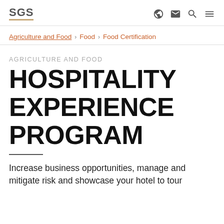SGS [logo with navigation icons]
Agriculture and Food › Food › Food Certification
AGRICULTURE AND FOOD
HOSPITALITY EXPERIENCE PROGRAM
Increase business opportunities, manage and mitigate risk and showcase your hotel to tour